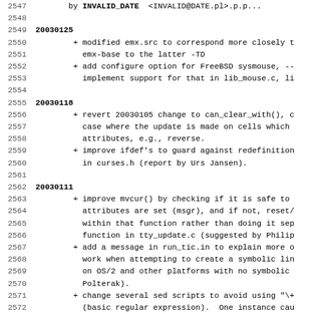Changelog / version control log entries from 20030105 to 20030125, showing modifications to emx.src, FreeBSD sysmouse configure option, revert of 20030105 change to can_clear_with(), improve ifdef's, improve mvcur(), add message in run_tic.in, change sed scripts, correct misspelled 'wint_t', improve description of terminfo operators.